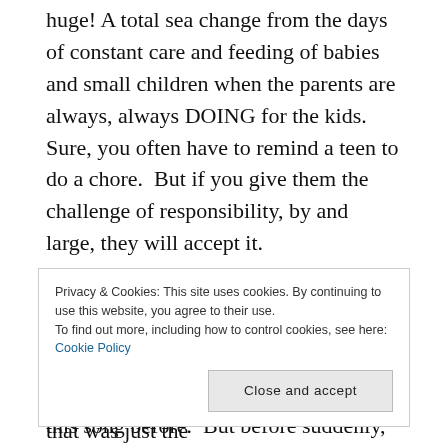huge! A total sea change from the days of constant care and feeding of babies and small children when the parents are always, always DOING for the kids.  Sure, you often have to remind a teen to do a chore.  But if you give them the challenge of responsibility, by and large, they will accept it.
They expose you to new – and sometimes wonderful – things.  My son introduced me to Avicii way before his music made it to the mainstream; that was just the
Privacy & Cookies: This site uses cookies. By continuing to use this website, you agree to their use.
To find out more, including how to control cookies, see here: Cookie Policy
[Close and accept]
this song before.  But before suddenly,  I was loading